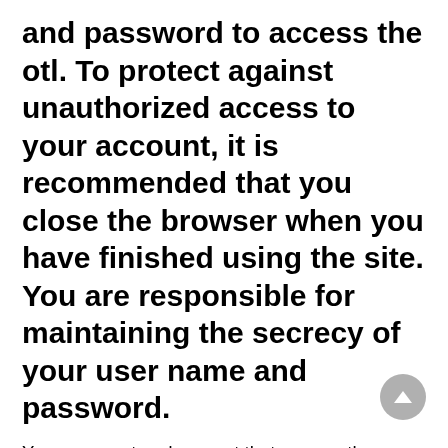and password to access the otl. To protect against unauthorized access to your account, it is recommended that you close the browser when you have finished using the site. You are responsible for maintaining the secrecy of your user name and password.
You represent and warrant that you are the person on whose behalf you claim to accept these terms, or, if you are entering into these terms on behalf of a person or entity, you represent and warrant that